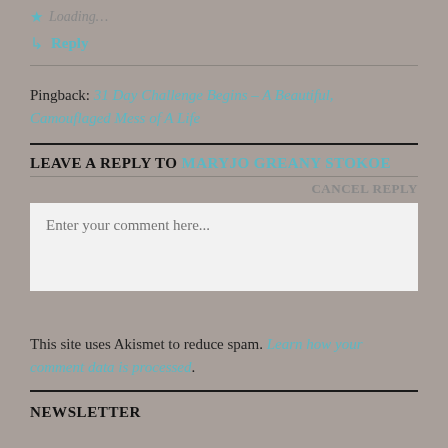Loading...
Reply
Pingback: 31 Day Challenge Begins – A Beautiful, Camouflaged Mess of A Life
LEAVE A REPLY TO MARYJO GREANY STOKOE
CANCEL REPLY
Enter your comment here...
This site uses Akismet to reduce spam. Learn how your comment data is processed.
NEWSLETTER